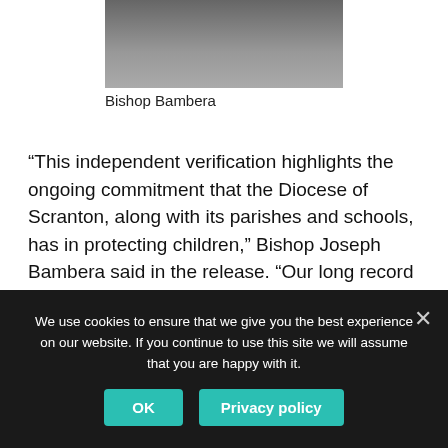[Figure (photo): Partial photo of Bishop Bambera, cropped showing upper body with clerical clothing and chain/cross]
Bishop Bambera
“This independent verification highlights the ongoing commitment that the Diocese of Scranton, along with its parishes and schools, has in protecting children,” Bishop Joseph Bambera said in the release. “Our long record of compliance emphasizes that reliable reporting mechanisms are in place to ensure our zero-tolerance for any misconduct by a bishop, priest, deacon, lay employee or volunteer.”
https://www.timesleader.com/news/1000910/diocese-releases-independent-audit-findings-on-abuse-policies
We use cookies to ensure that we give you the best experience on our website. If you continue to use this site we will assume that you are happy with it.